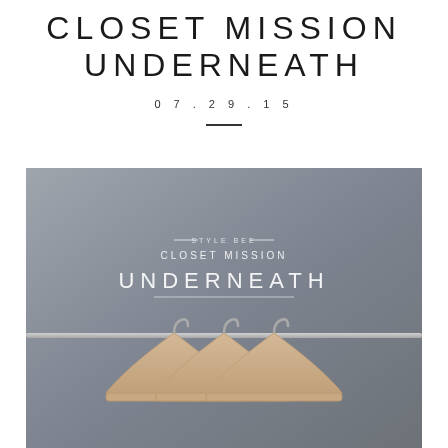CLOSET MISSION UNDERNEATH
07.29.15
[Figure (photo): A gray-background styled photo with overlaid text reading STYLE BEE / CLOSET MISSION / UNDERNEATH, and three wooden hangers on a metal rail at the bottom.]